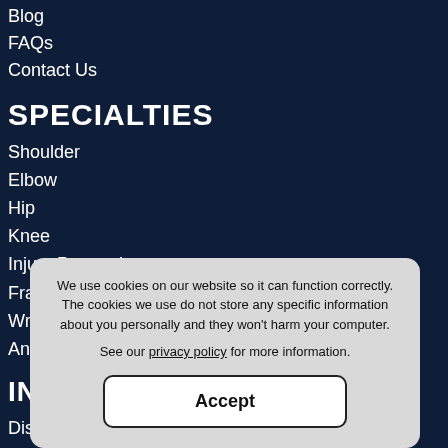Blog
FAQs
Contact Us
SPECIALTIES
Shoulder
Elbow
Hip
Knee
Injury Prevention
Fractures / Broken Bones
Wrist/Hand
Ankle
INFO LINKS
Disclaimer
Privacy
Sitemap
Feedback
We use cookies on our website so it can function correctly. The cookies we use do not store any specific information about you personally and they won't harm your computer.

See our privacy policy for more information.